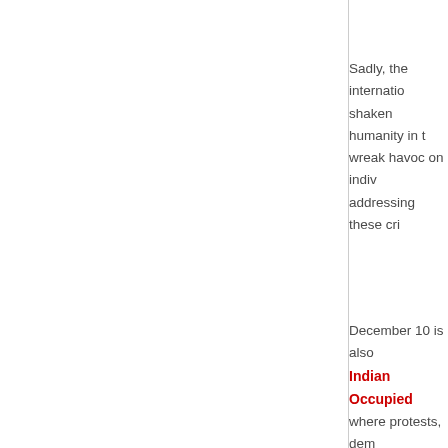Sadly, the international community has not been shaken humanity in the face of these tragedies that wreak havoc on individuals and communities. In addressing these cri...
December 10 is also significant for the people of Indian Occupied Kashmir where protests, demonstrations are held against gross human rights v...
This time, this very day is being observed this year in the aftermath of the popular uprising in Indian Held Kashmir following the death of its leaders. Since July 8, the people of Kashmir have been protesting against th...
Some online authentic pictures have shown the armed forces; large numbers of people whose forces have damaged their eyes or robbed their eyesight making 201...